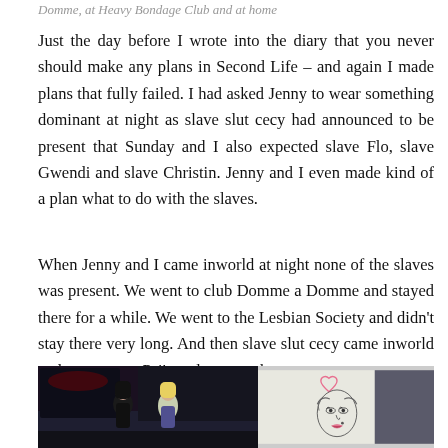Domme, at Heavy Bondage Club and at home
Just the day before I wrote into the diary that you never should make any plans in Second Life – and again I made plans that fully failed. I had asked Jenny to wear something dominant at night as slave slut cecy had announced to be present that Sunday and I also expected slave Flo, slave Gwendi and slave Christin. Jenny and I even made kind of a plan what to do with the slaves.
When Jenny and I came inworld at night none of the slaves was present. We went to club Domme a Domme and stayed there for a while. We went to the Lesbian Society and didn't stay there very long. And then slave slut cecy came inworld and we went to Psi's realm to see her.
[Figure (photo): Two female avatars in a dark club scene setting (Second Life screenshot)]
[Figure (illustration): Sketch/drawing of a face, resembling Marilyn Monroe style illustration with a heart]